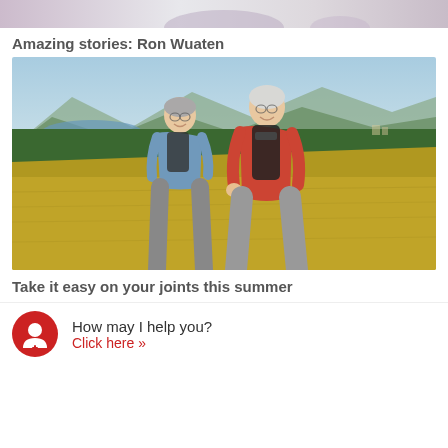[Figure (photo): Top strip showing partial image, appears to be hands or a person cropped at the top]
Amazing stories: Ron Wuaten
[Figure (photo): Two senior hikers, a man in blue shirt and a woman in red shirt, both wearing backpacks and smiling while walking uphill through a golden meadow with mountains and a lake in the background]
Take it easy on your joints this summer
How may I help you? Click here >>